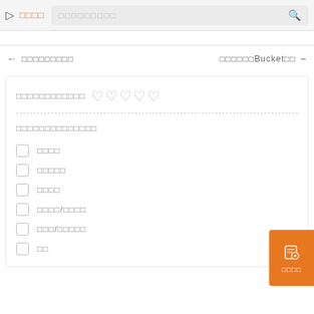▷ □□□□ □□□□□□□□□ 🔍
← □□□□□□□□□    □□□□□□Bucket□□ —
□□□□□□□□□□□□ ♡ ♡ ♡ ♡ ♡
□□□□□□□□□□□□□□
□□□□
□□□□□
□□□□
□□□□/□□□□
□□□/□□□□□
□□
□□□□